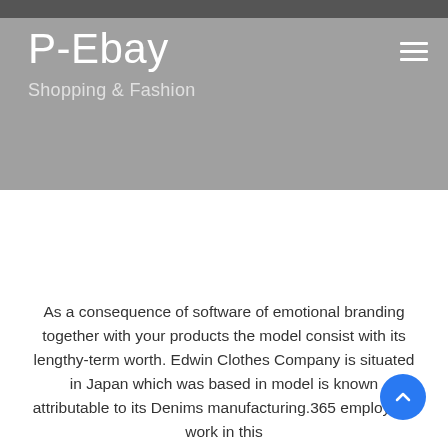[Figure (screenshot): Website header screenshot with gray background showing dark photo strip at top]
P-Ebay
Shopping & Fashion
As a consequence of software of emotional branding together with your products the model consist with its lengthy-term worth. Edwin Clothes Company is situated in Japan which was based in model is known attributable to its Denims manufacturing.365 employees work in this